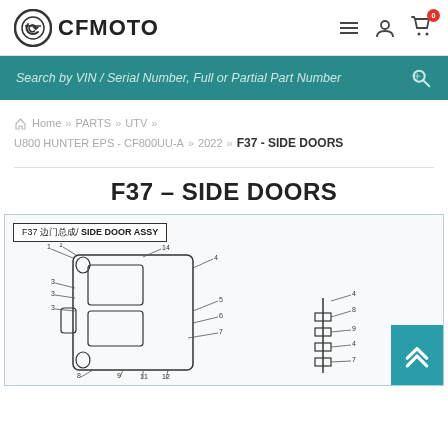CFMOTO
Search by VIN / Serial Number, Full or Partial Part Number
Home >> PARTS >> UTV >> U800 HUNTER EPS - CF800UU-A >> 2022 >> F37 - SIDE DOORS
F37 - SIDE DOORS
[Figure (engineering-diagram): F37 Side Door Assy engineering diagram showing numbered parts of a UTV side door assembly, including door panel, hinges, handles, screws, and related hardware components with callout numbers 1-14.]